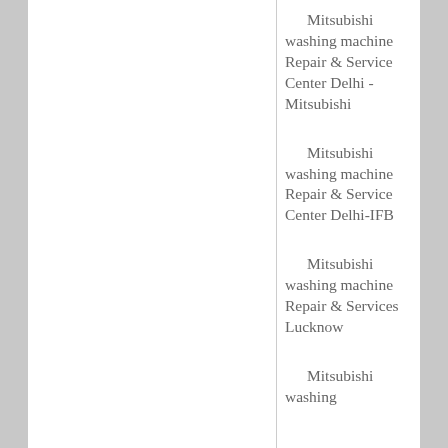Mitsubishi washing machine Repair & Service Center Delhi -Mitsubishi
Mitsubishi washing machine Repair & Service Center Delhi-IFB
Mitsubishi washing machine Repair & Services Lucknow
Mitsubishi washing machine